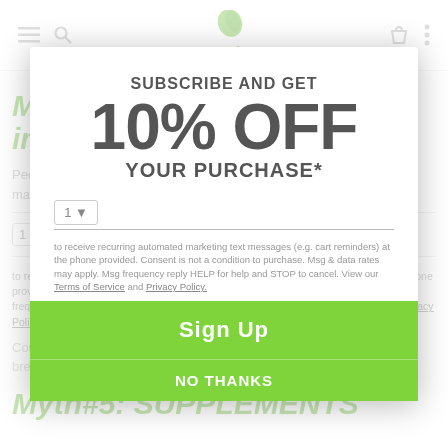NutraPrice.com
Myth #4: Supplements are immediate.
People think that if a supplement doesn't offer noticeable results in a matter of days, it doesn't work.
This is totally false. when it comes to supplements, a little bit of patience can go a long way.
[Figure (screenshot): Subscribe and get 10% OFF YOUR PURCHASE* modal popup overlay]
to receive recurring automated marketing text messages (e.g. cart reminders) at the phone provided. Consent is not a condition to purchase. Msg & data rates may apply. Msg frequency reply HELP for help and STOP to cancel. View our Terms of Service and Privacy Policy.
Consistency and patience are what usually produce results. Sorry to break the news to you.
Myth#5: SUPPLEMENTS